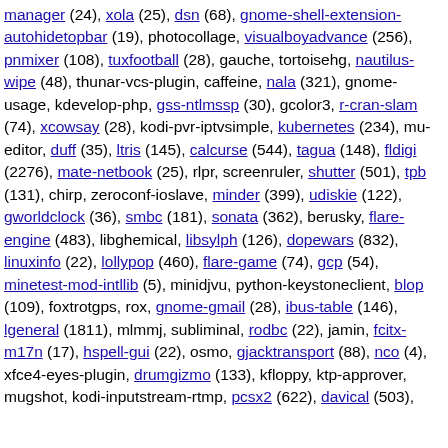manager (24), xola (25), dsn (68), gnome-shell-extension-autohidetopbar (19), photocollage, visualboyadvance (256), pnmixer (108), tuxfootball (28), gauche, tortoisehg, nautilus-wipe (48), thunar-vcs-plugin, caffeine, nala (321), gnome-usage, kdevelop-php, gss-ntlmssp (30), gcolor3, r-cran-slam (74), xcowsay (28), kodi-pvr-iptvsimple, kubernetes (234), mu-editor, duff (35), ltris (145), calcurse (544), tagua (148), fldigi (2276), mate-netbook (25), rlpr, screenruler, shutter (501), tpb (131), chirp, zeroconf-ioslave, minder (399), udiskie (122), gworldclock (36), smbc (181), sonata (362), berusky, flare-engine (483), libghemical, libsylph (126), dopewars (832), linuxinfo (22), lollypop (460), flare-game (74), gcp (54), minetest-mod-intllib (5), minidjvu, python-keystoneclient, blop (109), foxtrotgps, rox, gnome-gmail (28), ibus-table (146), lgeneral (1811), mlmmj, subliminal, rodbc (22), jamin, fcitx-m17n (17), hspell-gui (22), osmo, gjacktransport (88), nco (4), xfce4-eyes-plugin, drumgizmo (133), kfloppy, ktp-approver, mugshot, kodi-inputstream-rtmp, pcsx2 (622), davical (503),